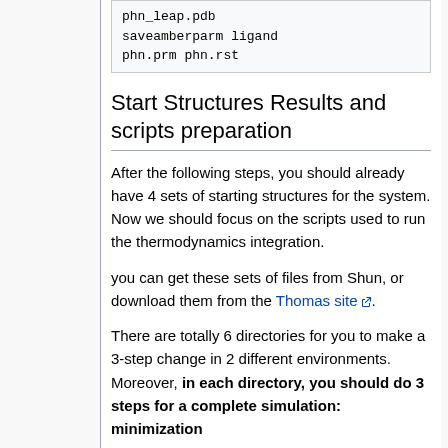[Figure (other): Code block showing phn_leap.pdb saveamberparm ligand phn.prm phn.rst]
Start Structures Results and scripts preparation
After the following steps, you should already have 4 sets of starting structures for the system. Now we should focus on the scripts used to run the thermodynamics integration.
you can get these sets of files from Shun, or download them from the Thomas site.
There are totally 6 directories for you to make a 3-step change in 2 different environments. Moreover, in each directory, you should do 3 steps for a complete simulation: minimization